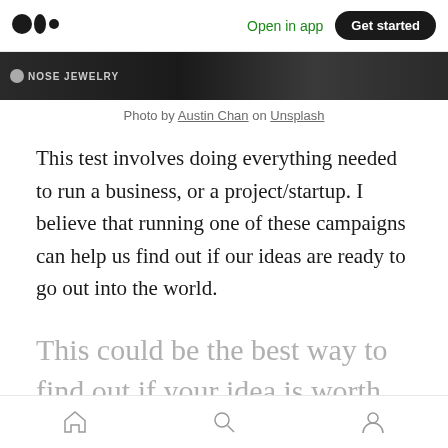Medium logo | Open in app | Get started
[Figure (photo): Dark background image strip showing text 'NOSE JEWELRY' and other partially visible content]
Photo by Austin Chan on Unsplash
This test involves doing everything needed to run a business, or a project/startup. I believe that running one of these campaigns can help us find out if our ideas are ready to go out into the world.
This could be the best way to find out if your idea is worth
Home | Search | Profile (bottom navigation icons)